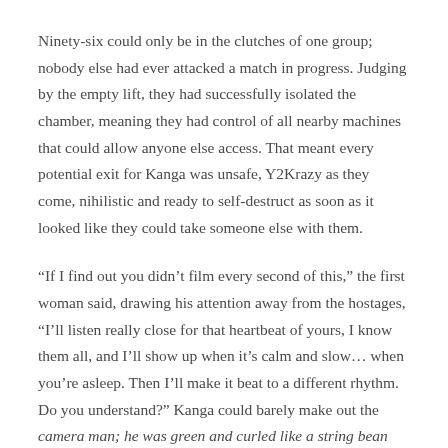Ninety-six could only be in the clutches of one group; nobody else had ever attacked a match in progress. Judging by the empty lift, they had successfully isolated the chamber, meaning they had control of all nearby machines that could allow anyone else access. That meant every potential exit for Kanga was unsafe, Y2Krazy as they come, nihilistic and ready to self-destruct as soon as it looked like they could take someone else with them.
“If I find out you didn’t film every second of this,” the first woman said, drawing his attention away from the hostages, “I’ll listen really close for that heartbeat of yours, I know them all, and I’ll show up when it’s calm and slow… when you’re asleep. Then I’ll make it beat to a different rhythm. Do you understand?” Kanga could barely make out the camera man; he was green and curled like a string bean